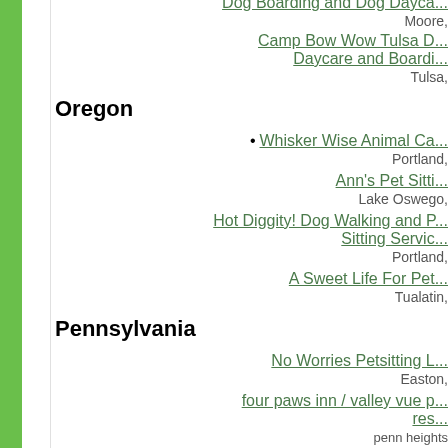Dog Boarding and Dog Daycare — Moore,
Camp Bow Wow Tulsa Dog Daycare and Boarding — Tulsa,
Oregon
• Whisker Wise Animal Care — Portland,
Ann's Pet Sitting — Lake Oswego,
Hot Diggity! Dog Walking and Pet Sitting Service — Portland,
A Sweet Life For Pets — Tualatin,
Pennsylvania
No Worries Petsitting LLC — Easton,
four paws inn / valley vue resort — penn heights